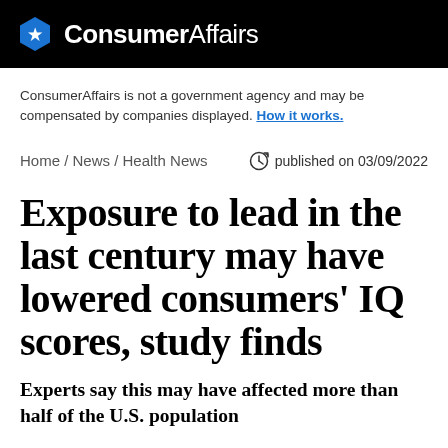ConsumerAffairs
ConsumerAffairs is not a government agency and may be compensated by companies displayed. How it works.
Home / News / Health News   published on 03/09/2022
Exposure to lead in the last century may have lowered consumers' IQ scores, study finds
Experts say this may have affected more than half of the U.S. population